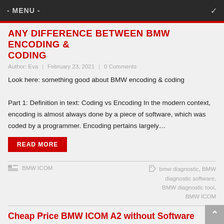- MENU -
ANY DIFFERENCE BETWEEN BMW ENCODING & CODING
Author: Eva | February 23, 2021 | 0 Comments
Look here: something good about BMW encoding & coding

Part 1: Definition in text: Coding vs Encoding In the modern context, encoding is almost always done by a piece of software, which was coded by a programmer. Encoding pertains largely…
READ MORE
BMW ICOM
bmw diagnostic, BMW diagnostic software, BMW diagnostic tool, BMW ICOM
Cheap Price BMW ICOM A2 without Software
Author: Eva | August 4, 2020 | 0 Comments